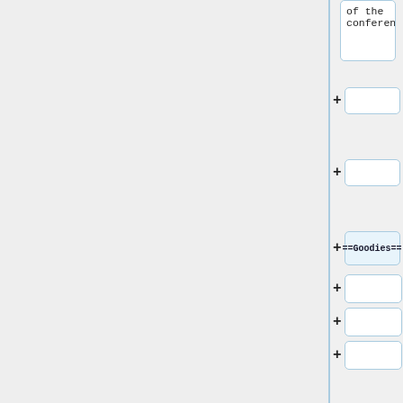of the conference.
of the conference.
+
+
==Goodies==
+
+
+
<gallery>
File:cap.jpg
|
<small>Cap</small>
File:cups.jpg|
<small>Coffe